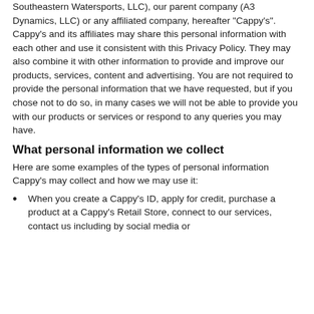Southeastern Watersports, LLC), our parent company (A3 Dynamics, LLC) or any affiliated company, hereafter "Cappy's". Cappy's and its affiliates may share this personal information with each other and use it consistent with this Privacy Policy. They may also combine it with other information to provide and improve our products, services, content and advertising. You are not required to provide the personal information that we have requested, but if you chose not to do so, in many cases we will not be able to provide you with our products or services or respond to any queries you may have.
What personal information we collect
Here are some examples of the types of personal information Cappy's may collect and how we may use it:
When you create a Cappy's ID, apply for credit, purchase a product at a Cappy's Retail Store, connect to our services, contact us including by social media or